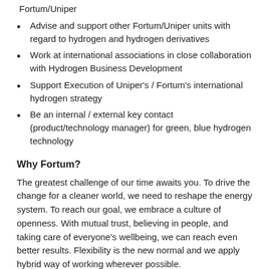Fortum/Uniper
Advise and support other Fortum/Uniper units with regard to hydrogen and hydrogen derivatives
Work at international associations in close collaboration with Hydrogen Business Development
Support Execution of Uniper's / Fortum's international hydrogen strategy
Be an internal / external key contact (product/technology manager) for green, blue hydrogen technology
Why Fortum?
The greatest challenge of our time awaits you. To drive the change for a cleaner world, we need to reshape the energy system. To reach our goal, we embrace a culture of openness. With mutual trust, believing in people, and taking care of everyone's wellbeing, we can reach even better results. Flexibility is the new normal and we apply hybrid way of working wherever possible.
For you, working at Fortum means exciting opportunities to